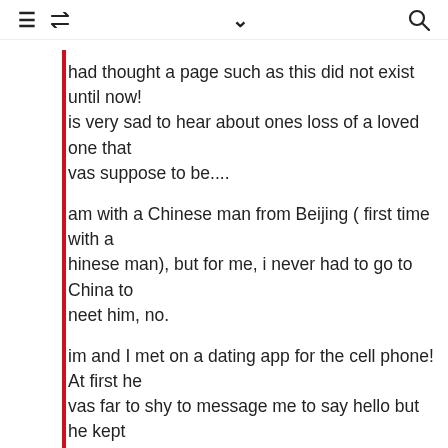≡ 🔁 ∨ 🔍
had thought a page such as this did not exist until now! is very sad to hear about ones loss of a loved one that vas suppose to be....
am with a Chinese man from Beijing ( first time with a hinese man), but for me, i never had to go to China to neet him, no.
im and I met on a dating app for the cell phone! At first he vas far to shy to message me to say hello but he kept ooking at my profile over and over. I messaged him for he first time and we exploded into wonderful onversations! It did not take him long to ask me out on a ate so we can meet in person!
ur first date was A classic dinner and a movie but with ery shy cuddling added!
e would not let me spend any of my money nor did he